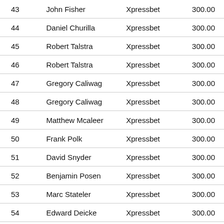| 43 | John Fisher | Xpressbet | 300.00 |
| 44 | Daniel Churilla | Xpressbet | 300.00 |
| 45 | Robert Talstra | Xpressbet | 300.00 |
| 46 | Robert Talstra | Xpressbet | 300.00 |
| 47 | Gregory Caliwag | Xpressbet | 300.00 |
| 48 | Gregory Caliwag | Xpressbet | 300.00 |
| 49 | Matthew Mcaleer | Xpressbet | 300.00 |
| 50 | Frank Polk | Xpressbet | 300.00 |
| 51 | David Snyder | Xpressbet | 300.00 |
| 52 | Benjamin Posen | Xpressbet | 300.00 |
| 53 | Marc Stateler | Xpressbet | 300.00 |
| 54 | Edward Deicke | Xpressbet | 300.00 |
| 55 | Edward Deicke | Xpressbet | 300.00 |
| 56 | Andrew Vallat | Xpressbet | 300.00 |